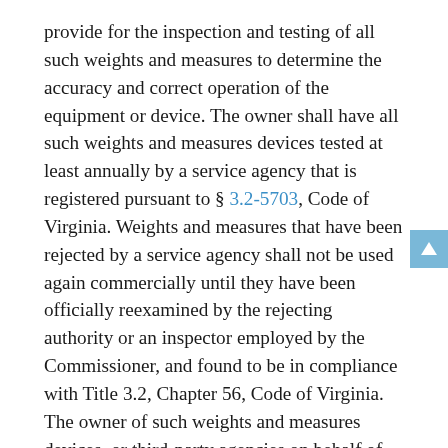provide for the inspection and testing of all such weights and measures to determine the accuracy and correct operation of the equipment or device. The owner shall have all such weights and measures devices tested at least annually by a service agency that is registered pursuant to § 3.2-5703, Code of Virginia. Weights and measures that have been rejected by a service agency shall not be used again commercially until they have been officially reexamined by the rejecting authority or an inspector employed by the Commissioner, and found to be in compliance with Title 3.2, Chapter 56, Code of Virginia. The owner of such weights and measures devices, or third-party agencies on behalf of the owner, shall report to the Commissioner on an annual basis in a manner prescribed by the Commissioner the results of all testing, including (i) the number of inspections completed, (ii) the number of failures in the weights and measures equipment or devices, and